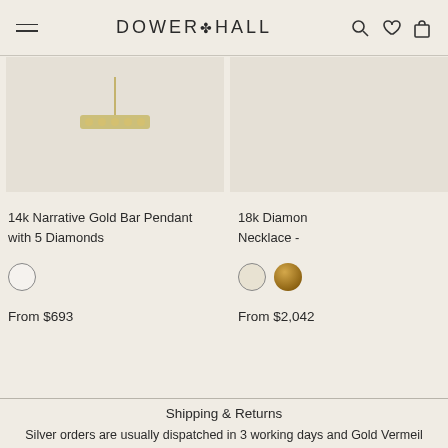DOWER & HALL
[Figure (photo): Product image area showing a 14k Narrative Gold Bar Pendant with 5 Diamonds on a cream/beige background]
14k Narrative Gold Bar Pendant with 5 Diamonds
From $693
[Figure (photo): Partial product image area showing an 18k Diamond Necklace on a cream/beige background]
18k Diamond Necklace -
From $2,042
Shipping & Returns
Silver orders are usually dispatched in 3 working days and Gold Vermeil orders in 5 working days. If this is not going to be